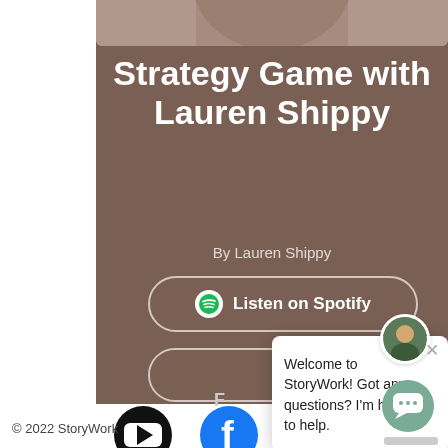[Figure (screenshot): Brown podcast card showing 'Strategy Game with Lauren Shippy' title, By Lauren Shippy credit, and Listen on Spotify button]
Strategy Game with Lauren Shippy
By Lauren Shippy
Listen on Spotify
[Figure (screenshot): Chat popup overlay with avatar, close button, and welcome message: Welcome to StoryWork! Got any questions? I'm happy to help.]
Welcome to StoryWork! Got any questions? I'm happy to help.
© 2022 StoryWork